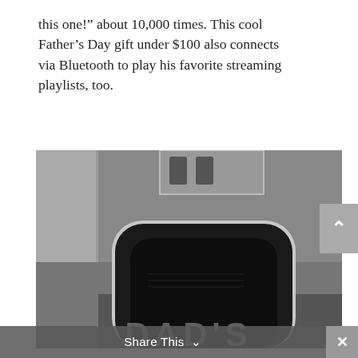this one!” about 10,000 times. This cool Father’s Day gift under $100 also connects via Bluetooth to play his favorite streaming playlists, too.
[Figure (photo): Close-up photo of a black rounded-square smart speaker device with chrome trim, placed against a gray wall with electrical outlets visible at the top. At the bottom of the image, the partially visible text 'DAD'S' appears in large gray letters.]
Share This ∨